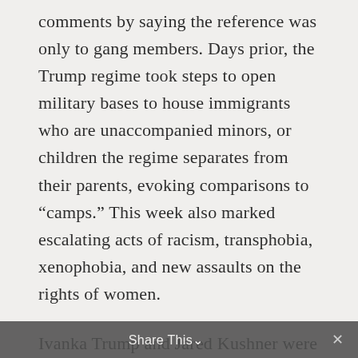comments by saying the reference was only to gang members. Days prior, the Trump regime took steps to open military bases to house immigrants who are unaccompanied minors, or children the regime separates from their parents, evoking comparisons to “camps.” This week also marked escalating acts of racism, transphobia, xenophobia, and new assaults on the rights of women.

Ivanka Trump and Jared Kushner were the faces of our country as Trump moved the US embassy in Israel to Jerusalem, leading to protests, scores of deaths, and hundreds of injuries. Kushner, still without full
Share This